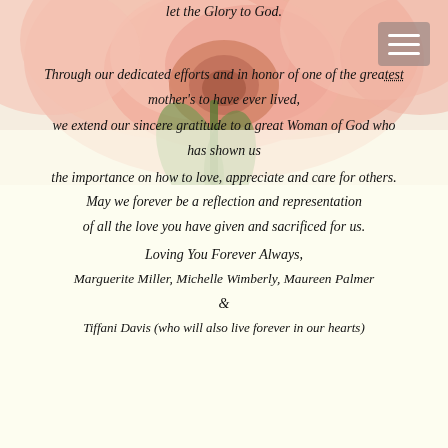[Figure (photo): A pink rose photograph used as background image at the top of the page, with soft cream/yellow lower portion.]
let the Glory to God.
Through our dedicated efforts and in honor of one of the greatest mother's to have ever lived, we extend our sincere gratitude to a great Woman of God who has shown us the importance on how to love, appreciate and care for others. May we forever be a reflection and representation of all the love you have given and sacrificed for us.
Loving You Forever Always,
Marguerite Miller, Michelle Wimberly, Maureen Palmer & Tiffani Davis (who will also live forever in our hearts)